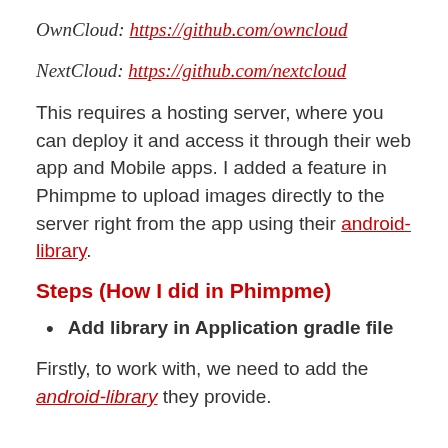OwnCloud: https://github.com/owncloud
NextCloud: https://github.com/nextcloud
This requires a hosting server, where you can deploy it and access it through their web app and Mobile apps. I added a feature in Phimpme to upload images directly to the server right from the app using their android-library.
Steps (How I did in Phimpme)
Add library in Application gradle file
Firstly, to work with, we need to add the android-library they provide.